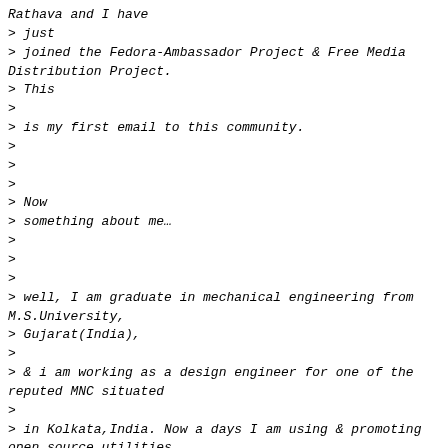Rathava and I have
> just
> joined the Fedora-Ambassador Project & Free Media Distribution Project.
> This
>
> is my first email to this community.
>
>
>
> Now
> something about me…
>
>
>
> well, I am graduate in mechanical engineering from M.S.University,
> Gujarat(India),
>
> & i am working as a design engineer for one of the reputed MNC situated
>
> in Kolkata,India. Now a days I am using & promoting open source utilities
> to the society..!
>
>
>
> I am very grateful & lucky to be part of this revolutionary fedora-project,